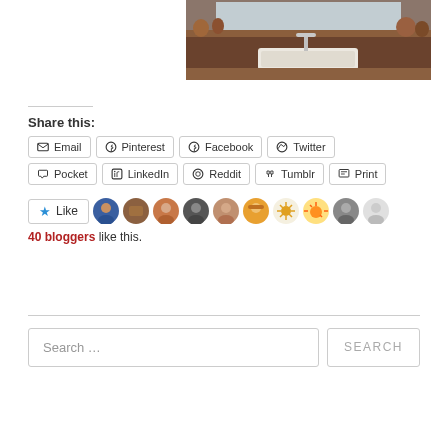[Figure (photo): Kitchen sink photo showing a farmhouse-style white sink with faucet, wooden shelf, brick wall background, and window light]
Share this:
Email
Pinterest
Facebook
Twitter
Pocket
LinkedIn
Reddit
Tumblr
Print
40 bloggers like this.
Search ...